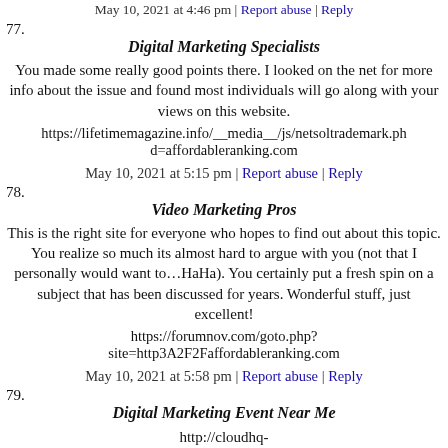May 10, 2021 at 4:46 pm | Report abuse | Reply
77. Digital Marketing Specialists
You made some really good points there. I looked on the net for more info about the issue and found most individuals will go along with your views on this website.
https://lifetimemagazine.info/__media__/js/netsoltrademark.php?d=affordableranking.com
May 10, 2021 at 5:15 pm | Report abuse | Reply
78. Video Marketing Pros
This is the right site for everyone who hopes to find out about this topic. You realize so much its almost hard to argue with you (not that I personally would want to…HaHa). You certainly put a fresh spin on a subject that has been discussed for years. Wonderful stuff, just excellent!
https://forumnov.com/goto.php?site=http3A2F2Faffordableranking.com
May 10, 2021 at 5:58 pm | Report abuse | Reply
79. Digital Marketing Event Near Me
http://cloudhq-mkt5.net/mail_track/link/f09ab65221acfa3e99c228b6fe5b446...